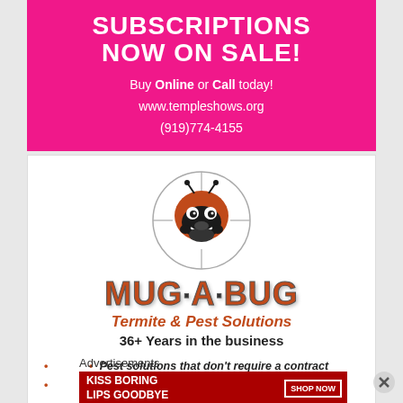[Figure (infographic): Pink background advertisement banner: 'SUBSCRIPTIONS NOW ON SALE! Buy Online or Call today! www.templeshows.org (919)774-4155']
[Figure (logo): Mug-A-Bug Termite & Pest Solutions advertisement with cartoon bug logo in crosshairs, brand name, tagline '36+ Years in the business', bullet points about services, and phone number 919-499-7021]
Advertisements
[Figure (infographic): Red advertisement banner: KISS BORING LIPS GOODBYE with SHOP NOW button]